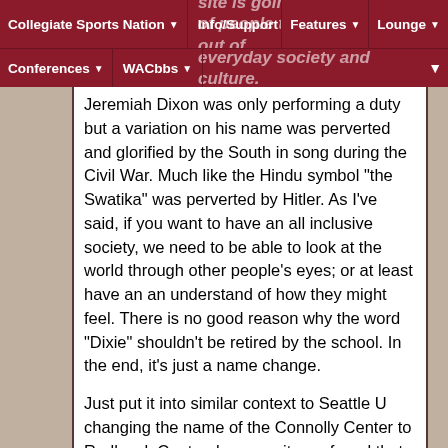Collegiate Sports Nation | Info/Support | Features | Lounge | Conferences | WACbbs
site is going to have a group of people trying to cancel it out of everyday society and culture.
Jeremiah Dixon was only performing a duty but a variation on his name was perverted and glorified by the South in song during the Civil War. Much like the Hindu symbol "the Swatika" was perverted by Hitler. As I've said, if you want to have an all inclusive society, we need to be able to look at the world through other people's eyes; or at least have an an understand of how they might feel. There is no good reason why the word "Dixie" shouldn't be retired by the school. In the end, it's just a name change.
Just put it into similar context to Seattle U changing the name of the Connolly Center to Redhawk Center; because it was found that Archbishop Thomas Connolly was involved in covering up sex crimes committed by